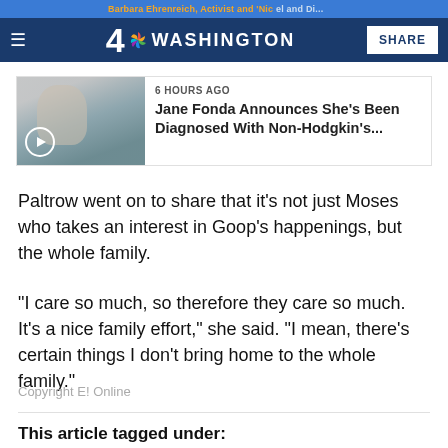4 NBC WASHINGTON  SHARE
[Figure (photo): Thumbnail image of Jane Fonda with play button overlay]
6 HOURS AGO
Jane Fonda Announces She's Been Diagnosed With Non-Hodgkin's...
Paltrow went on to share that it's not just Moses who takes an interest in Goop's happenings, but the whole family.
"I care so much, so therefore they care so much. It's a nice family effort," she said. "I mean, there's certain things I don't bring home to the whole family."
Copyright E! Online
This article tagged under: